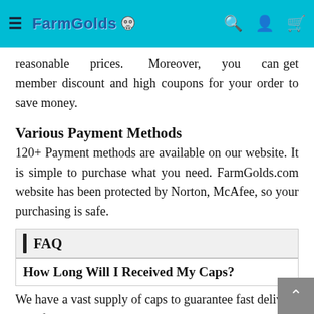FarmGolds [logo]
reasonable prices. Moreover, you can get member discount and high coupons for your order to save money.
Various Payment Methods
120+ Payment methods are available on our website. It is simple to purchase what you need. FarmGolds.com website has been protected by Norton, McAfee, so your purchasing is safe.
FAQ
How Long Will I Received My Caps?
We have a vast supply of caps to guarantee fast delivery time for all consoles: PS4, Xbox